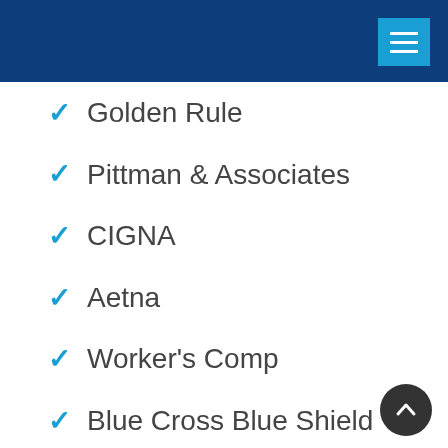Golden Rule
Pittman & Associates
CIGNA
Aetna
Worker's Comp
Blue Cross Blue Shield